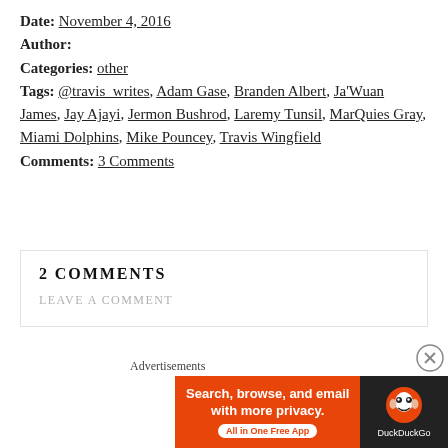Date: November 4, 2016
Author:
Categories: other
Tags: @travis_writes, Adam Gase, Branden Albert, Ja'Wuan James, Jay Ajayi, Jermon Bushrod, Laremy Tunsil, MarQuies Gray, Miami Dolphins, Mike Pouncey, Travis Wingfield
Comments: 3 Comments
2 COMMENTS
LEAVE A COMMENT
Advertisements
[Figure (illustration): DuckDuckGo advertisement banner: orange background with text 'Search, browse, and email with more privacy. All in One Free App' and DuckDuckGo logo on dark right panel]